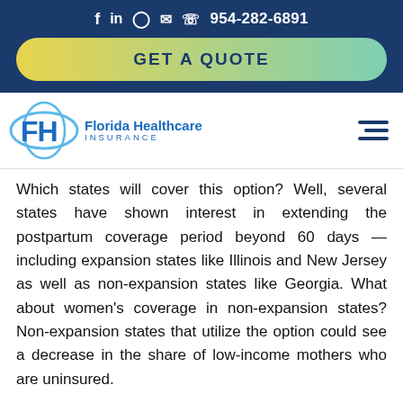f  in  Ⓒ  ✉  ☏  954-282-6891
[Figure (other): GET A QUOTE gradient button (yellow to teal)]
[Figure (logo): Florida Healthcare Insurance logo with FH letters and ellipse]
Which states will cover this option? Well, several states have shown interest in extending the postpartum coverage period beyond 60 days — including expansion states like Illinois and New Jersey as well as non-expansion states like Georgia. What about women’s coverage in non-expansion states? Non-expansion states that utilize the option could see a decrease in the share of low-income mothers who are uninsured.